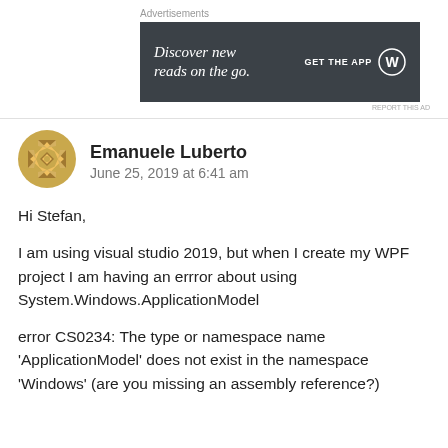[Figure (screenshot): Advertisement banner: dark gray background with italic white text 'Discover new reads on the go.' and a 'GET THE APP' CTA with WordPress logo.]
Emanuele Luberto
June 25, 2019 at 6:41 am
Hi Stefan,
I am using visual studio 2019, but when I create my WPF project I am having an errror about using System.Windows.ApplicationModel
error CS0234: The type or namespace name 'ApplicationModel' does not exist in the namespace 'Windows' (are you missing an assembly reference?)